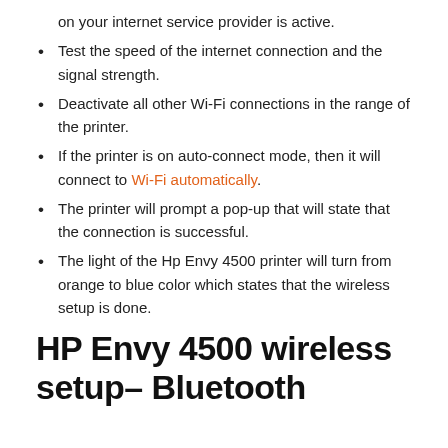on your internet service provider is active.
Test the speed of the internet connection and the signal strength.
Deactivate all other Wi-Fi connections in the range of the printer.
If the printer is on auto-connect mode, then it will connect to Wi-Fi automatically.
The printer will prompt a pop-up that will state that the connection is successful.
The light of the Hp Envy 4500 printer will turn from orange to blue color which states that the wireless setup is done.
HP Envy 4500 wireless setup- Bluetooth